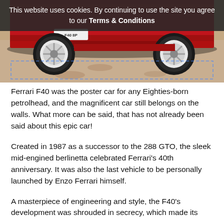[Figure (photo): Bottom portion of a red Ferrari F40 on a gravel surface, showing the front bumper, license plate reading 'F40 8P', front wheels, and underside skirt. The car is red and partially visible against a gravel/dirt background.]
This website uses cookies. By continuing to use the site you agree to our Terms & Conditions
Ferrari F40 was the poster car for any Eighties-born petrolhead, and the magnificent car still belongs on the walls. What more can be said, that has not already been said about this epic car!
Created in 1987 as a successor to the 288 GTO, the sleek mid-engined berlinetta celebrated Ferrari's 40th anniversary. It was also the last vehicle to be personally launched by Enzo Ferrari himself.
A masterpiece of engineering and style, the F40's development was shrouded in secrecy, which made its